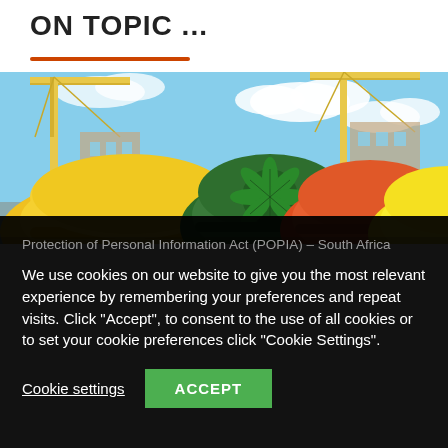ON TOPIC ...
[Figure (photo): Construction site photo showing colorful hard hats (yellow, green with cannabis leaf design, orange, yellow) in the foreground with construction cranes and blue sky in the background.]
Protection of Personal Information Act (POPIA) – South Africa
We use cookies on our website to give you the most relevant experience by remembering your preferences and repeat visits. Click "Accept", to consent to the use of all cookies or to set your cookie preferences click "Cookie Settings".
Cookie settings
ACCEPT